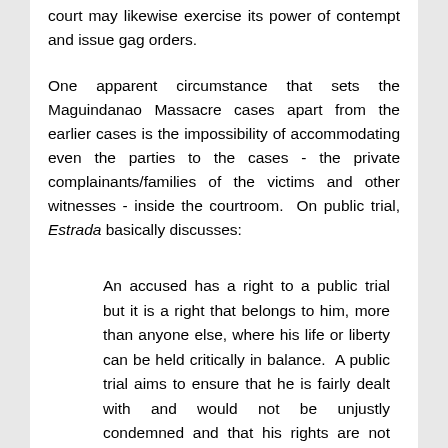court may likewise exercise its power of contempt and issue gag orders.
One apparent circumstance that sets the Maguindanao Massacre cases apart from the earlier cases is the impossibility of accommodating even the parties to the cases - the private complainants/families of the victims and other witnesses - inside the courtroom. On public trial, Estrada basically discusses:
An accused has a right to a public trial but it is a right that belongs to him, more than anyone else, where his life or liberty can be held critically in balance. A public trial aims to ensure that he is fairly dealt with and would not be unjustly condemned and that his rights are not compromised in secrete conclaves of long ago. A public trial is not